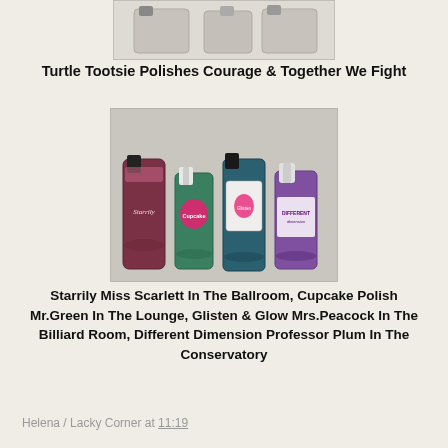[Figure (photo): Partial top view of nail polish bottles on a light background, cropped from above]
Turtle Tootsie Polishes Courage & Together We Fight
[Figure (photo): Four nail polish bottles side by side: Starrily (dark red/maroon with black cap), Cupcake Polish Mr.Green (green glitter with white cap), Glisten & Glow Mrs.Peacock (teal with black cap and damask label), Different Dimension (purple with white cap). Gray background.]
Starrily Miss Scarlett In The Ballroom, Cupcake Polish Mr.Green In The Lounge, Glisten & Glow Mrs.Peacock In The Billiard Room, Different Dimension Professor Plum In The Conservatory
Helena / Lacky Corner at 11:19